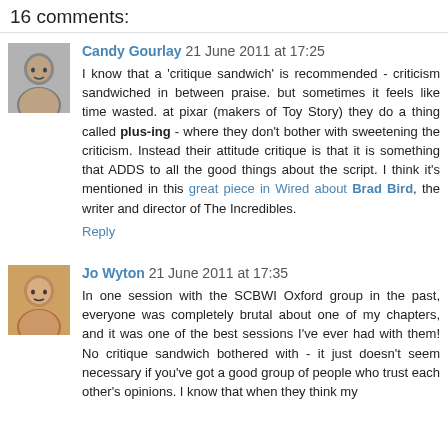16 comments:
Candy Gourlay 21 June 2011 at 17:25
I know that a 'critique sandwich' is recommended - criticism sandwiched in between praise. but sometimes it feels like time wasted. at pixar (makers of Toy Story) they do a thing called plus-ing - where they don't bother with sweetening the criticism. Instead their attitude critique is that it is something that ADDS to all the good things about the script. I think it's mentioned in this great piece in Wired about Brad Bird, the writer and director of The Incredibles.
Reply
Jo Wyton 21 June 2011 at 17:35
In one session with the SCBWI Oxford group in the past, everyone was completely brutal about one of my chapters, and it was one of the best sessions I've ever had with them! No critique sandwich bothered with - it just doesn't seem necessary if you've got a good people who trust each other's opinions. I know that when they think my